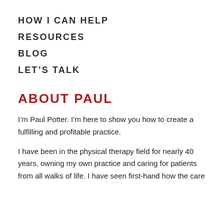HOW I CAN HELP
RESOURCES
BLOG
LET'S TALK
ABOUT PAUL
I'm Paul Potter. I'm here to show you how to create a fulfilling and profitable practice.
I have been in the physical therapy field for nearly 40 years, owning my own practice and caring for patients from all walks of life. I have seen first-hand how the care